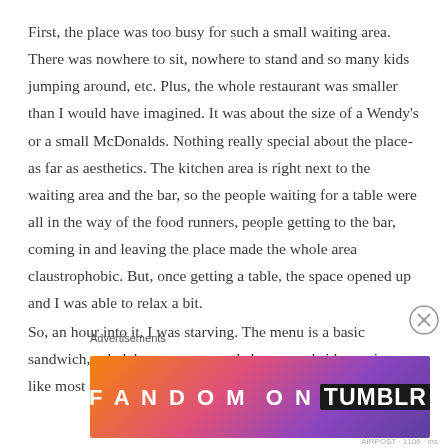First, the place was too busy for such a small waiting area. There was nowhere to sit, nowhere to stand and so many kids jumping around, etc. Plus, the whole restaurant was smaller than I would have imagined. It was about the size of a Wendy's or a small McDonalds. Nothing really special about the place- as far as aesthetics. The kitchen area is right next to the waiting area and the bar, so the people waiting for a table were all in the way of the food runners, people getting to the bar, coming in and leaving the place made the whole area claustrophobic. But, once getting a table, the space opened up and I was able to relax a bit.
So, an hour into it, I was starving. The menu is a basic sandwich, salad, burgers, mac and cheese, and sides variety, like most
Advertisements
[Figure (illustration): Fandom on Tumblr advertisement banner with colorful gradient background (orange to purple) and white text reading FANDOM ON tumblr]